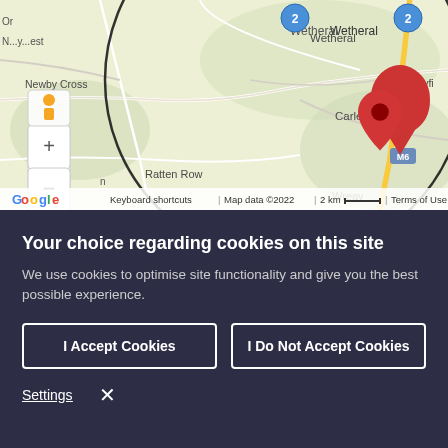[Figure (map): Google Maps screenshot showing Carlisle area (Carleton, Wetheral, Wreay, Ratten Row, Newby Cross) with a red map pin marker at Carleton, a large black circle radius overlay centered slightly northeast, clustered blue marker bubbles showing '2', zoom controls (+/-), M6 motorway label, Google logo, and map footer with keyboard shortcuts, Map data ©2022, 2 km scale bar, Terms of Use.]
Your choice regarding cookies on this site
We use cookies to optimise site functionality and give you the best possible experience.